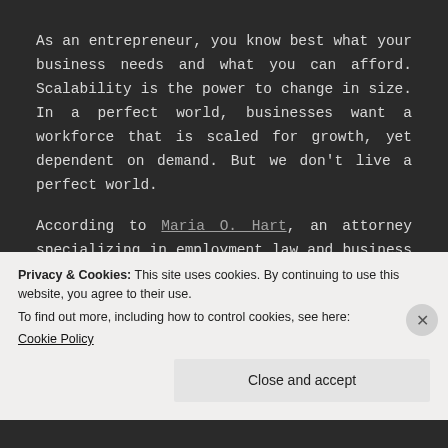As an entrepreneur, you know best what your business needs and what you can afford. Scalability is the power to change in size. In a perfect world, businesses want a workforce that is scaled for growth, yet dependent on demand. But we don't live a perfect world.

According to Maria O. Hart, an attorney specializing in employment law and business litigation, employee misclassification is not a
Privacy & Cookies: This site uses cookies. By continuing to use this website, you agree to their use.
To find out more, including how to control cookies, see here:
Cookie Policy
Close and accept